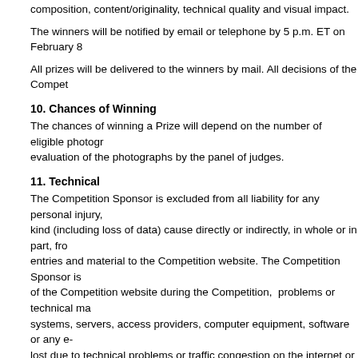composition, content/originality, technical quality and visual impact.
The winners will be notified by email or telephone by 5 p.m. ET on February 8
All prizes will be delivered to the winners by mail. All decisions of the Compet
10. Chances of Winning
The chances of winning a Prize will depend on the number of eligible photogr evaluation of the photographs by the panel of judges.
11. Technical
The Competition Sponsor is excluded from all liability for any personal injury, kind (including loss of data) cause directly or indirectly, in whole or in part, fro entries and material to the Competition website. The Competition Sponsor is of the Competition website during the Competition, problems or technical ma systems, servers, access providers, computer equipment, software or any e- lost due to technical problems or traffic congestion on the internet or at any w thereof, including any injury or damage to an entrant's or any other person's c or resulting from uploading any photographic entry to the Competition.
12. Cancellation
The Competition Sponsor reserves the right, with the consent of the Régie des jeux, to terminate or suspend the Competition or to amend these Rules a and in any way, without prior notice, for any reason whatsoever. Without limiti reason the Competition is not capable of running or being completed, as orig a result of tampering or infection by a computer virus) the Competition Spons consent of the Régie des alcools, des courses et des jeux, to cancel the Co
13. Disqualification
The Competition Sponsor, in their sole discretion, may disqualify any individu the legitimate operation of the Competition by tampering with any website m